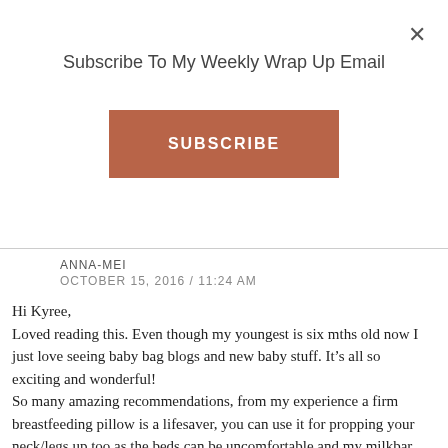Subscribe To My Weekly Wrap Up Email
SUBSCRIBE
ANNA-MEI
OCTOBER 15, 2016 / 11:24 AM
Hi Kyree,
Loved reading this. Even though my youngest is six mths old now I just love seeing baby bag blogs and new baby stuff. It’s all so exciting and wonderful!
So many amazing recommendations, from my experience a firm breastfeeding pillow is a lifesaver, you can use it for propping your neck/legs up too as the beds can be uncomfortable and my milkbar one was so handy with feeding as I had a really sore arm from the drips going wrong and bruised and I couldn’t hold my first baby due to that!

Also a gro-hush which is a white noise machine. I used it from day 1 so my baby would be used to it and it has helped every sleep to this day! Also just a whole pack of nappies so you don’t worry about running out. My first